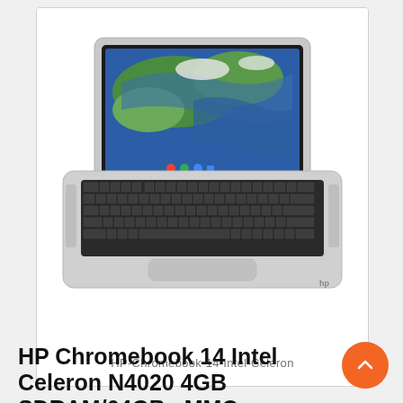[Figure (photo): HP Chromebook 14 laptop shown from above at a slight angle, silver/white body, open lid showing satellite map on screen, dark keyboard. White background inside a bordered box.]
HP-Chromebook-14-Intel-Celeron
HP Chromebook 14 Intel Celeron N4020 4GB SDRAM/64GB eMMC